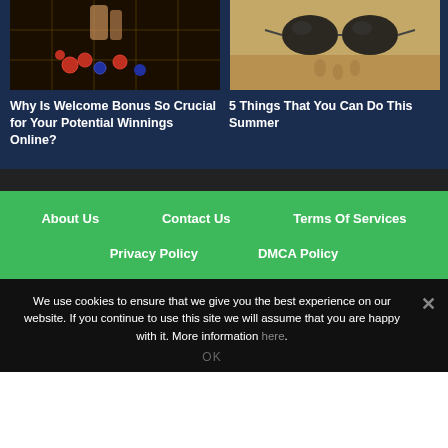[Figure (photo): Casino roulette table with chips and hands]
[Figure (photo): Sunglasses and footprints on a sandy beach]
Why Is Welcome Bonus So Crucial for Your Potential Winnings Online?
5 Things That You Can Do This Summer
About Us  Contact Us  Terms Of Services  Privacy Policy  DMCA Policy
We use cookies to ensure that we give you the best experience on our website. If you continue to use this site we will assume that you are happy with it. More information here.
OK